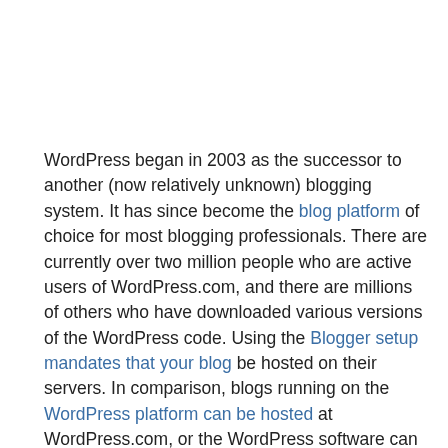WordPress began in 2003 as the successor to another (now relatively unknown) blogging system. It has since become the blog platform of choice for most blogging professionals. There are currently over two million people who are active users of WordPress.com, and there are millions of others who have downloaded various versions of the WordPress code. Using the Blogger setup mandates that your blog be hosted on their servers. In comparison, blogs running on the WordPress platform can be hosted at WordPress.com, or the WordPress software can be downloaded and used on your choice of web hosts. Below are some of the key features of the...